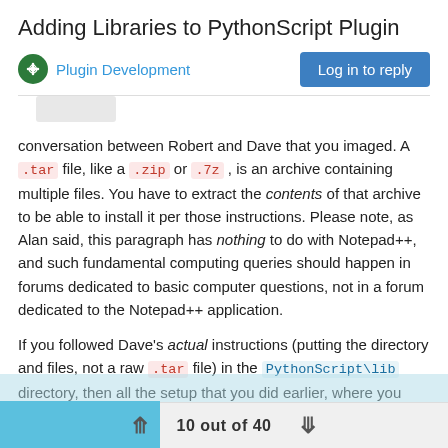Adding Libraries to PythonScript Plugin
Plugin Development
conversation between Robert and Dave that you imaged. A .tar file, like a .zip or .7z , is an archive containing multiple files. You have to extract the contents of that archive to be able to install it per those instructions. Please note, as Alan said, this paragraph has nothing to do with Notepad++, and such fundamental computing queries should happen in forums dedicated to basic computer questions, not in a forum dedicated to the Notepad++ application.
If you followed Dave's actual instructions (putting the directory and files, not a raw .tar file) in the PythonScript\lib directory, then all the setup that you did earlier, where you changed to "prefer installed python libraries" to use your own Python installation instead of the python27.dll bundled with PythonScript, will just get in the way – because you are no longer defaulting to the bundled libraries, you are defaulting to use the libraries of the separately-
10 out of 40